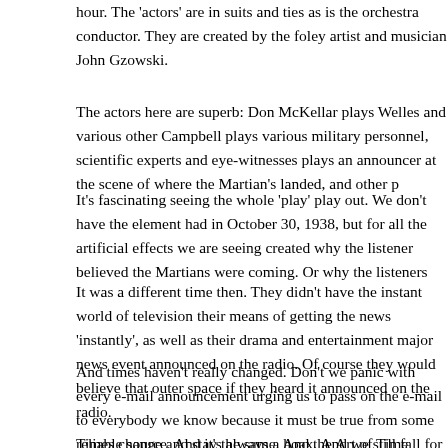hour. The 'actors' are in suits and ties as is the orchestra conductor. They are created by the foley artist and musician John Gzowski.
The actors here are superb: Don McKellar plays Welles and various other Campbell plays various military personnel, scientific experts and eye-witnesses plays an announcer at the scene of where the Martian's landed, and other p
It's fascinating seeing the whole 'play' play out. We don't have the element had in October 30, 1938, but for all the artificial effects we are seeing created why the listener believed the Martians were coming. Or why the listeners
It was a different time then. They didn't have the instant world of television their means of getting the news 'instantly', as well as their drama and entertainment major news event announced on the radio. Of course they would believe that outer space if they heard it announced on the radio.
And times haven't really changed. Don't we panic with every e-mail announcement urging us to pass on the e-mail to everybody we know because it must be true from some reliable source. And it's always a hoax. And we still fall for it.
Times change and stay the same. And the Art of Time Ensemble shows th